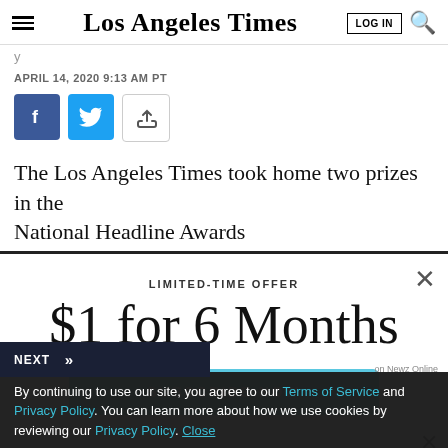Los Angeles Times
APRIL 14, 2020 9:13 AM PT
[Figure (other): Social share buttons: Facebook, Twitter, Share]
The Los Angeles Times took home two prizes in the National Headline Awards
[Figure (infographic): Subscription modal overlay: LIMITED-TIME OFFER $1 for 6 Months with SUBSCRIBE NOW button and close (X) button]
By continuing to use our site, you agree to our Terms of Service and Privacy Policy. You can learn more about how we use cookies by reviewing our Privacy Policy. Close